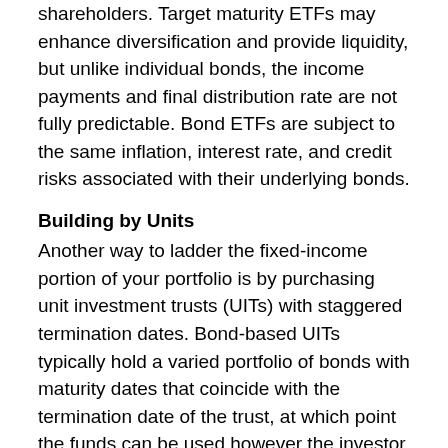shareholders. Target maturity ETFs may enhance diversification and provide liquidity, but unlike individual bonds, the income payments and final distribution rate are not fully predictable. Bond ETFs are subject to the same inflation, interest rate, and credit risks associated with their underlying bonds.
Building by Units
Another way to ladder the fixed-income portion of your portfolio is by purchasing unit investment trusts (UITs) with staggered termination dates. Bond-based UITs typically hold a varied portfolio of bonds with maturity dates that coincide with the termination date of the trust, at which point the funds can be used however the investor wishes. The UIT sponsor may offer the opportunity to roll over the proceeds to a new UIT.
The principal value of bonds, ETFs, and UITs will fluctuate with changes in market conditions. ETF shares and UIT units, when sold, and bonds redeemed prior to maturity may be worth more or less than their